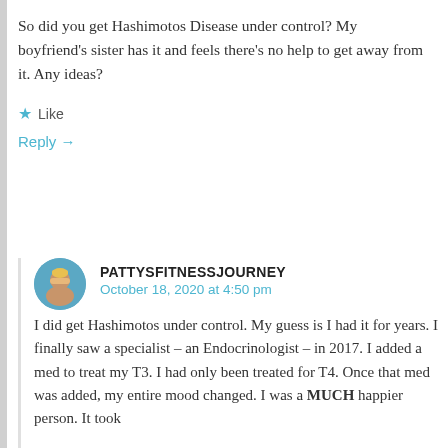So did you get Hashimotos Disease under control? My boyfriend's sister has it and feels there's no help to get away from it. Any ideas?
★ Like
Reply →
PATTYSFITNESSJOURNEY
October 18, 2020 at 4:50 pm
I did get Hashimotos under control. My guess is I had it for years. I finally saw a specialist – an Endocrinologist – in 2017. I added a med to treat my T3. I had only been treated for T4. Once that med was added, my entire mood changed. I was a MUCH happier person. It took